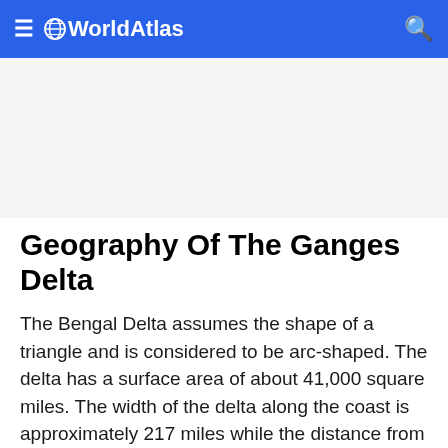≡ 🌐WorldAtlas 🔍
[Figure (other): Advertisement banner area (blank/gray)]
Geography Of The Ganges Delta
The Bengal Delta assumes the shape of a triangle and is considered to be arc-shaped. The delta has a surface area of about 41,000 square miles. The width of the delta along the coast is approximately 217 miles while the distance from the confluence of Ganges and Brahmaputra to the coast is about 155 miles. Two-thirds of the delta lies in Bangladesh while